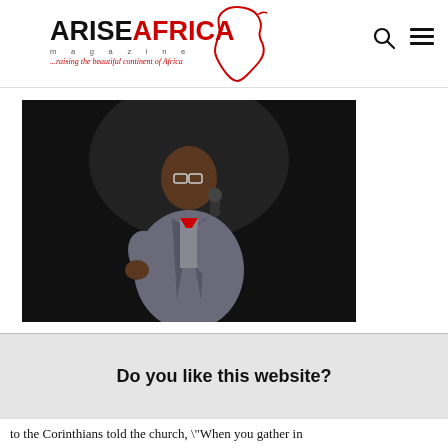ARISE AFRICA magazine — ...raising the beautiful continent of Africa
[Figure (photo): A man in a grey suit holding a microphone, speaking on stage against a dark background.]
Do you like this website?
to the Corinthians told the church, "When you gather in